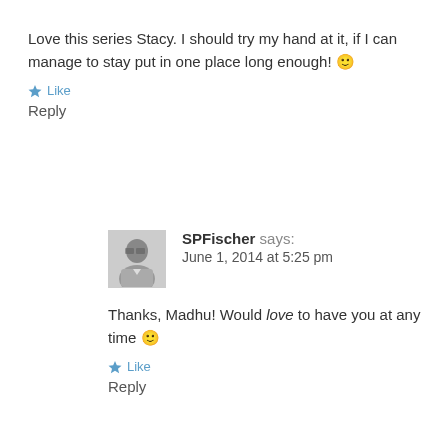Love this series Stacy. I should try my hand at it, if I can manage to stay put in one place long enough! 🙂
Like
Reply
SPFischer says:
June 1, 2014 at 5:25 pm
Thanks, Madhu! Would love to have you at any time 🙂
Like
Reply